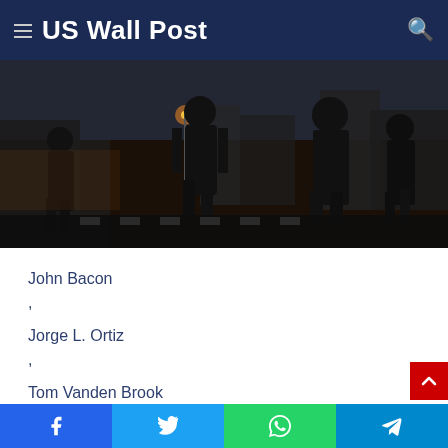US Wall Post
[Figure (photo): Dark street scene silhouettes of pedestrians walking in a city at dusk, buildings and street lights visible in background]
John Bacon
,
Jorge L. Ortiz
,
Tom Vanden Brook
| USA TODAY